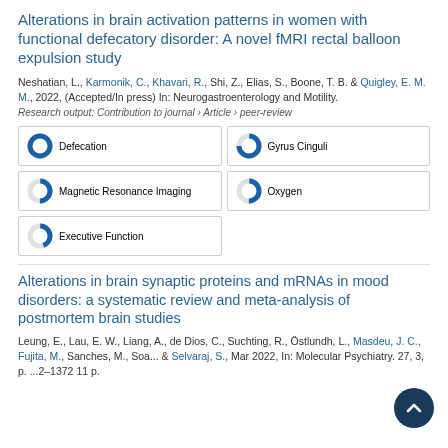Alterations in brain activation patterns in women with functional defecatory disorder: A novel fMRI rectal balloon expulsion study
Neshatian, L., Karmonik, C., Khavari, R., Shi, Z., Elias, S., Boone, T. B. & Quigley, E. M. M., 2022, (Accepted/In press) In: Neurogastroenterology and Motility.
Research output: Contribution to journal › Article › peer-review
Defecation
Gyrus Cinguli
Magnetic Resonance Imaging
Oxygen
Executive Function
Alterations in brain synaptic proteins and mRNAs in mood disorders: a systematic review and meta-analysis of postmortem brain studies
Leung, E., Lau, E. W., Liang, A., de Dios, C., Suchting, R., Östlundh, L., Masdeu, J. C., Fujita, M., Sanches, M., Soa... & Selvaraj, S., Mar 2022, In: Molecular Psychiatry. 27, 3, p. ...2–1372 11 p.